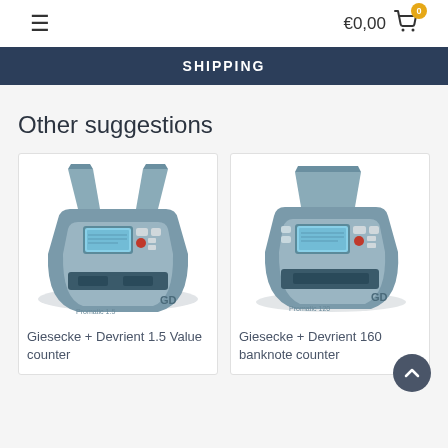€0,00  🛒 0
SHIPPING
Other suggestions
[Figure (photo): Giesecke + Devrient 1.5 Value counter machine — a grey and blue-green banknote counting device with dual hoppers and a small display screen]
Giesecke + Devrient 1.5 Value counter
[Figure (photo): Giesecke + Devrient 160 banknote counter machine — a grey and blue-green single-hopper banknote counter with display screen and orange button]
Giesecke + Devrient 160 banknote counter